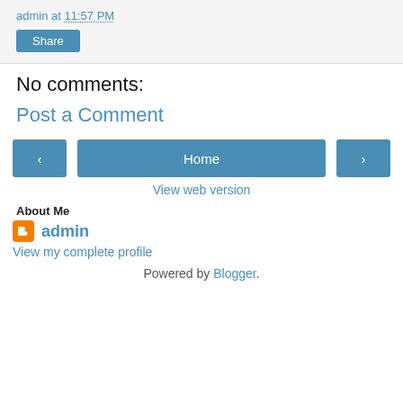admin at 11:57 PM
Share
No comments:
Post a Comment
‹ Home ›
View web version
About Me
admin
View my complete profile
Powered by Blogger.